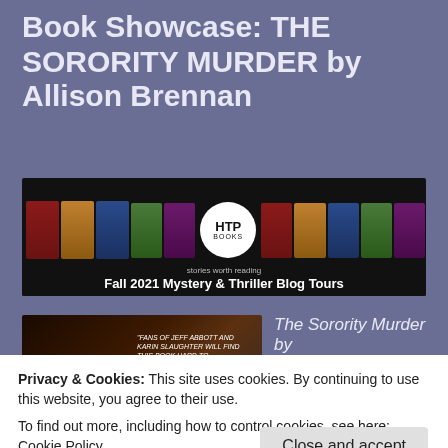Book Showcase: THE SORORITY MURDER by Allison Brennan
[Figure (illustration): HTP Books banner for Fall 2021 Mystery & Thriller Blog Tours, showing book covers and the HTP Books logo with text 'stories worth reading' and 'Fall 2021 Mystery & Thriller Blog Tours']
[Figure (photo): Book cover for The Sorority Murder with dark background and green title text at bottom, quote from fans of Jeff Abbott and Karin Slaughter visible]
The Sorority Murder by
Privacy & Cookies: This site uses cookies. By continuing to use this website, you agree to their use.
To find out more, including how to control cookies, see here: Cookie Policy
Close and accept
683